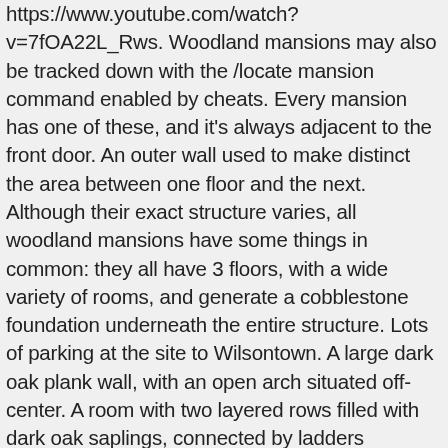https://www.youtube.com/watch?v=7fOA22L_Rws. Woodland mansions may also be tracked down with the /locate mansion command enabled by cheats. Every mansion has one of these, and it's always adjacent to the front door. An outer wall used to make distinct the area between one floor and the next. Although their exact structure varies, all woodland mansions have some things in common: they all have 3 floors, with a wide variety of rooms, and generate a cobblestone foundation underneath the entire structure. Lots of parking at the site to Wilsontown. A large dark oak plank wall, with an open arch situated off-center. A room with two layered rows filled with dark oak saplings, connected by ladders reaching the ceiling. You can also buy individual maps for like 2 $, like the woodland mansion etc, its on www.jeracraft.net if you wanna check them out, hope this helped! The top floor is around half the size of the lower floors, and they all contain a large foyer that leads to a winding maze of corridors. Shop; Blog; Become a member . THE body of a man has been found in woodland in Newton-le-Willows. The area was well irrigated due to the efforts of James Monroe, and